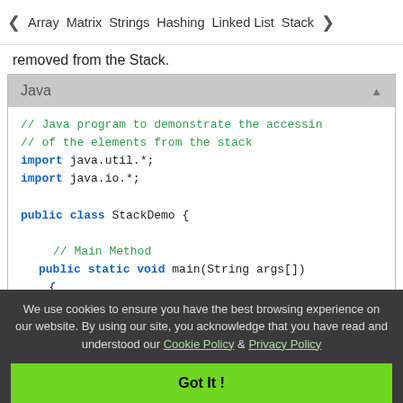< Array   Matrix   Strings   Hashing   Linked List   Stack >
removed from the Stack.
[Figure (screenshot): Java code block with language tab header showing: // Java program to demonstrate the accessing // of the elements from the stack import java.util.*; import java.io.*; public class StackDemo { // Main Method public static void main(String args[]) {]
We use cookies to ensure you have the best browsing experience on our website. By using our site, you acknowledge that you have read and understood our Cookie Policy & Privacy Policy
Got It !